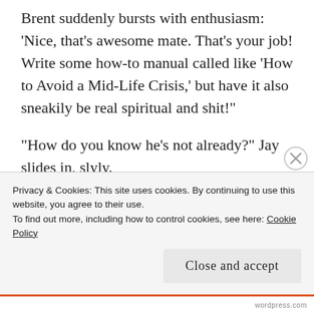Brent suddenly bursts with enthusiasm: 'Nice, that's awesome mate. That's your job! Write some how-to manual called like 'How to Avoid a Mid-Life Crisis,' but have it also sneakily be real spiritual and shit!'
"How do you know he's not already?" Jay slides in, slyly.
"Well what do you guys think?" I ask, shifting it. "You seem to be pretty tuned to some of the ideas the Aborigines had about it. What role do you think 'place' may play in it?" A breeze is kicking up, hurling
Privacy & Cookies: This site uses cookies. By continuing to use this website, you agree to their use.
To find out more, including how to control cookies, see here: Cookie Policy
Close and accept